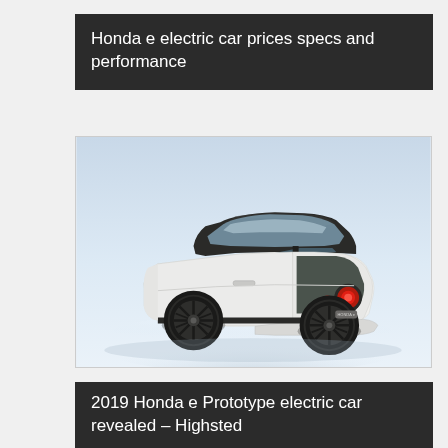Honda e electric car prices specs and performance
[Figure (photo): Rear three-quarter view of a white Honda e electric car prototype on a light blue/white background, showing dark alloy wheels, rounded rear design with circular tail lights, dark roof and rear glass.]
2019 Honda e Prototype electric car revealed – Highsted